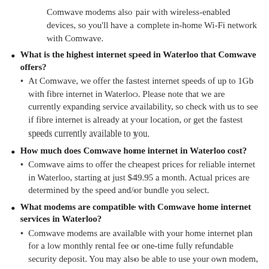Comwave modems also pair with wireless-enabled devices, so you'll have a complete in-home Wi-Fi network with Comwave.
What is the highest internet speed in Waterloo that Comwave offers?
At Comwave, we offer the fastest internet speeds of up to 1Gb with fibre internet in Waterloo. Please note that we are currently expanding service availability, so check with us to see if fibre internet is already at your location, or get the fastest speeds currently available to you.
How much does Comwave home internet in Waterloo cost?
Comwave aims to offer the cheapest prices for reliable internet in Waterloo, starting at just $49.95 a month. Actual prices are determined by the speed and/or bundle you select.
What modems are compatible with Comwave home internet services in Waterloo?
Comwave modems are available with your home internet plan for a low monthly rental fee or one-time fully refundable security deposit. You may also be able to use your own modem, but exact